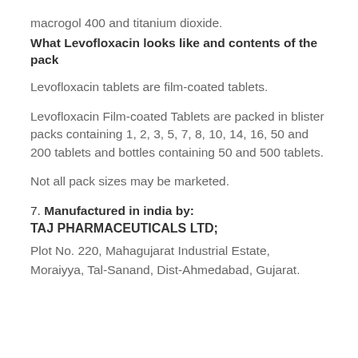macrogol 400 and titanium dioxide.
What Levofloxacin looks like and contents of the pack
Levofloxacin tablets are film-coated tablets.
Levofloxacin Film-coated Tablets are packed in blister packs containing 1, 2, 3, 5, 7, 8, 10, 14, 16, 50 and 200 tablets and bottles containing 50 and 500 tablets.
Not all pack sizes may be marketed.
7. Manufactured in india by: TAJ PHARMACEUTICALS LTD;
Plot No. 220, Mahagujarat Industrial Estate,
Moraiyya, Tal-Sanand, Dist-Ahmedabad, Gujarat.